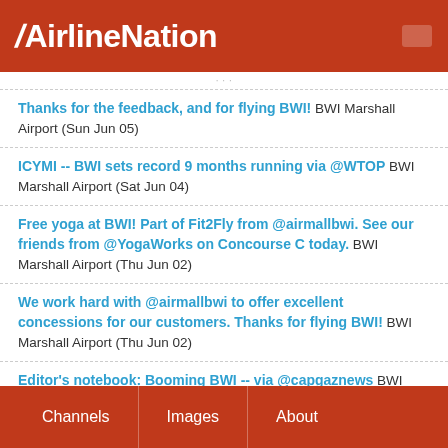AirlineNation
Thanks for the feedback, and for flying BWI! BWI Marshall Airport (Sun Jun 05)
ICYMI -- BWI sets record 9 months running via @WTOP BWI Marshall Airport (Sat Jun 04)
Free yoga at BWI! Part of Fit2Fly from @airmallbwi. See our friends from @YogaWorks on Concourse C today. BWI Marshall Airport (Thu Jun 02)
We work hard with @airmallbwi to offer excellent concessions for our customers. Thanks for flying BWI! BWI Marshall Airport (Thu Jun 02)
Editor's notebook: Booming BWI -- via @capgaznews BWI Marshall Airport (Thu Jun 02)
New service from @Allegiant links BWI with Lexington, KY @BGAirport! BWI Marshall Airport (Thu Jun 02)
Channels  Images  About